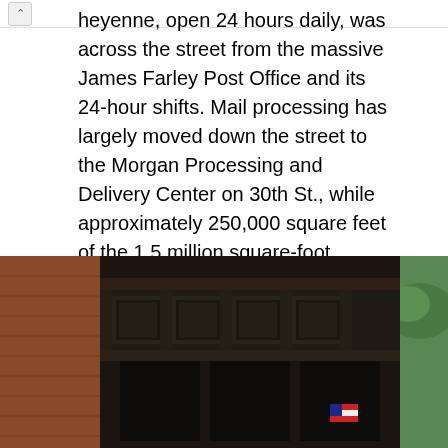heyenne, open 24 hours daily, was across the street from the massive James Farley Post Office and its 24-hour shifts. Mail processing has largely moved down the street to the Morgan Processing and Delivery Center on 30th St., while approximately 250,000 square feet of the 1.5 million square-foot building was converted to the Daniel P. Moynihan Train Hall, leaving just the famed 8th Ave. post office windows. The Moynihan remains underused as none of its promised restaurants have opened and the MTA didn't provide public seating, fearing a homeless takeover. It took about 10 years after the Cheyenne was carted away, but a nondescript apartment building replaced it.
[Figure (photo): Photograph of a historic building facade showing ornate architectural details with decorative molding and paneled frieze along the top, brick exterior on the left side, and a green building visible on the right. An American flag is partially visible in the lower right area.]